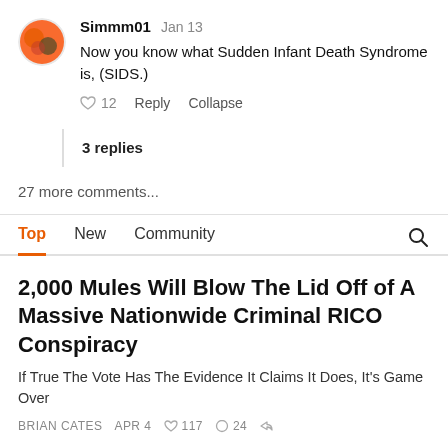Simmm01  Jan 13
Now you know what Sudden Infant Death Syndrome is, (SIDS.)
♡ 12  Reply  Collapse
3 replies
27 more comments...
Top  New  Community
2,000 Mules Will Blow The Lid Off of A Massive Nationwide Criminal RICO Conspiracy
If True The Vote Has The Evidence It Claims It Does, It's Game Over
BRIAN CATES  APR 4  ♡ 117  ○ 24